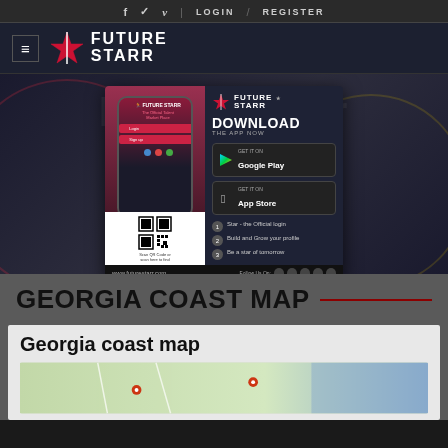f  ✓  v  LOGIN  /  REGISTER
[Figure (logo): Future Starr logo with star icon and hamburger menu]
[Figure (infographic): FutureStarr app download advertisement showing phone mockup, QR code, Google Play and App Store buttons]
GEORGIA COAST MAP
Georgia coast map
[Figure (map): Partial map thumbnail of Georgia coast area]